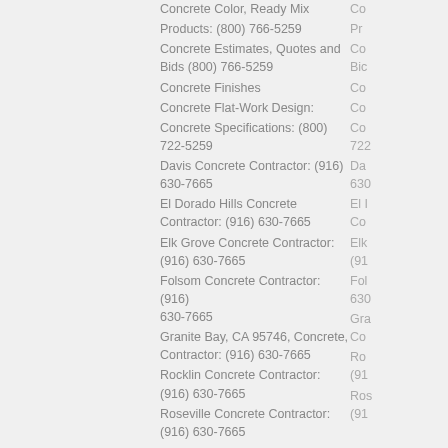Concrete Color, Ready Mix
Products: (800) 766-5259
Concrete Estimates, Quotes and Bids (800) 766-5259
Concrete Finishes
Concrete Flat-Work Design:
Concrete Specifications: (800) 722-5259
Davis Concrete Contractor: (916) 630-7665
El Dorado Hills Concrete Contractor: (916) 630-7665
Elk Grove Concrete Contractor: (916) 630-7665
Folsom Concrete Contractor: (916) 630-7665
Granite Bay, CA 95746, Concrete, Contractor: (916) 630-7665
Rocklin Concrete Contractor: (916) 630-7665
Roseville Concrete Contractor: (916) 630-7665